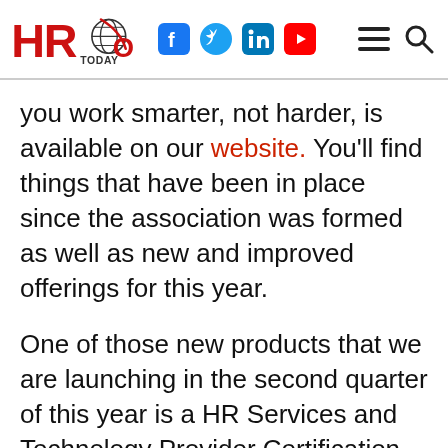HRO Today — with social icons (Facebook, Twitter, LinkedIn, YouTube) and navigation icons (menu, search)
you work smarter, not harder, is available on our website. You'll find things that have been in place since the association was formed as well as new and improved offerings for this year.
One of those new products that we are launching in the second quarter of this year is a HR Services and Technology Provider Certification Program. Certification can be one of the most powerful initiatives of an organization or industry. The benefits of this program